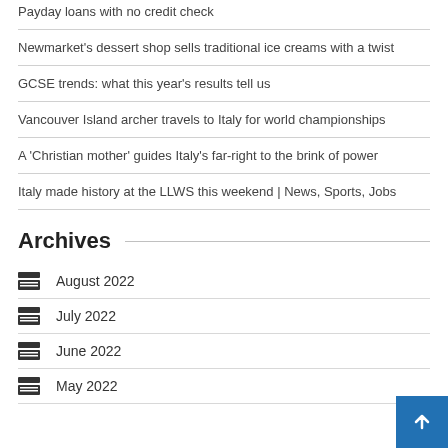Payday loans with no credit check
Newmarket's dessert shop sells traditional ice creams with a twist
GCSE trends: what this year's results tell us
Vancouver Island archer travels to Italy for world championships
A 'Christian mother' guides Italy's far-right to the brink of power
Italy made history at the LLWS this weekend | News, Sports, Jobs
Archives
August 2022
July 2022
June 2022
May 2022